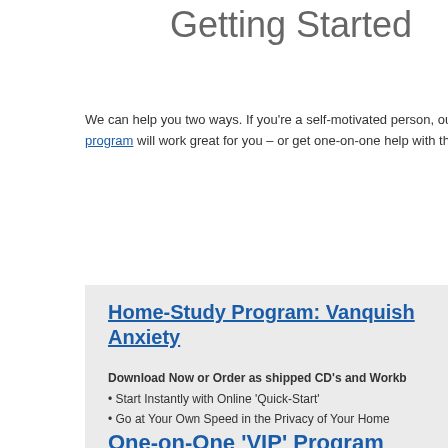Getting Started
We can help you two ways. If you're a self-motivated person, our program will work great for you – or get one-on-one help with the
Home-Study Program: Vanquish Anxiety
Download Now or Order as shipped CD's and Workb
Start Instantly with Online 'Quick-Start'
Go at Your Own Speed in the Privacy of Your Home
One-on-One 'VIP' Program